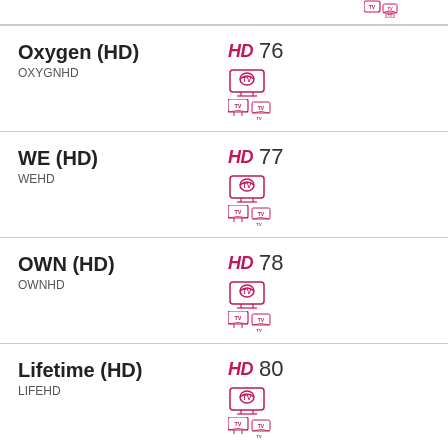Oxygen (HD) OXYGNHD HD 76
WE (HD) WEHD HD 77
OWN (HD) OWNHD HD 78
Lifetime (HD) LIFEHD HD 80
Lifetime Movie (HD) LMNHD HD 81